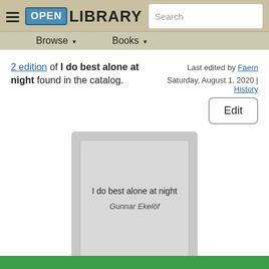Open Library — Browse, Books, Search
2 edition of I do best alone at night found in the catalog.
Last edited by Faern Saturday, August 1, 2020 | History
Edit
[Figure (illustration): Book cover placeholder showing 'I do best alone at night' by Gunnar Ekelöf on a grey background]
I do best alone at night — Gunnar Ekelöf